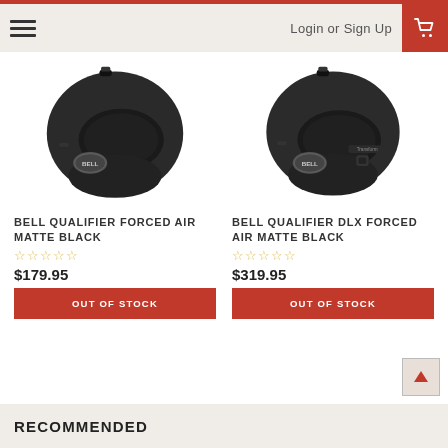Login or Sign Up
[Figure (photo): Bell Qualifier Forced Air Matte Black motorcycle helmet, side view]
BELL QUALIFIER FORCED AIR MATTE BLACK
☆☆☆☆☆
$179.95
OUT OF STOCK
[Figure (photo): Bell Qualifier DLX Forced Air Matte Black motorcycle helmet, side view with Transform label]
BELL QUALIFIER DLX FORCED AIR MATTE BLACK
☆☆☆☆☆
$319.95
OUT OF STOCK
RECOMMENDED